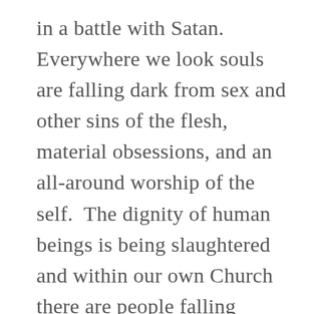in a battle with Satan. Everywhere we look souls are falling dark from sex and other sins of the flesh, material obsessions, and an all-around worship of the self.  The dignity of human beings is being slaughtered and within our own Church there are people falling victim to the pressures of the secular world. The sad thing is, much of the world condones it, or